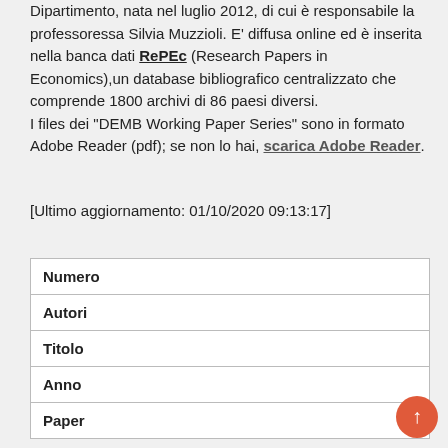Dipartimento, nata nel luglio 2012, di cui è responsabile la professoressa Silvia Muzzioli. E' diffusa online ed è inserita nella banca dati RePEc (Research Papers in Economics),un database bibliografico centralizzato che comprende 1800 archivi di 86 paesi diversi.
I files dei "DEMB Working Paper Series" sono in formato Adobe Reader (pdf); se non lo hai, scarica Adobe Reader.
[Ultimo aggiornamento: 01/10/2020 09:13:17]
| Numero |
| Autori |
| Titolo |
| Anno |
| Paper |